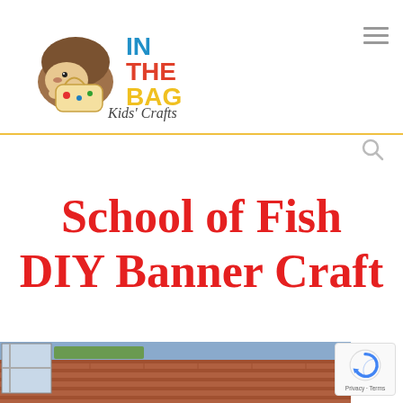In The Bag Kids' Crafts — ONE LITTLE BAG HOURS OF CREATIVITY
School of Fish DIY Banner Craft
[Figure (photo): Partial photo of a building with brick wall and outdoor scene, cropped at bottom of page]
[Figure (other): Google reCAPTCHA badge with Privacy and Terms links]